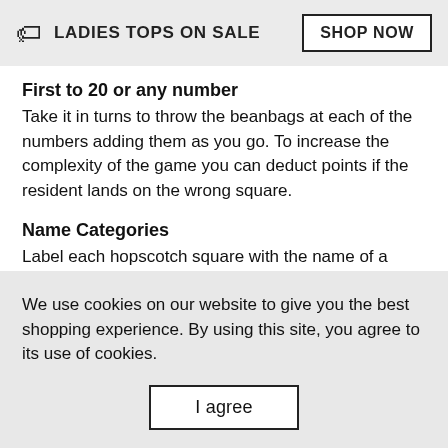LADIES TOPS ON SALE  SHOP NOW
First to 20 or any number
Take it in turns to throw the beanbags at each of the numbers adding them as you go. To increase the complexity of the game you can deduct points if the resident lands on the wrong square.
Name Categories
Label each hopscotch square with the name of a category (books, animals,desserts, etc.). When your bean bags lands on a square, residents can think of an idea for the
We use cookies on our website to give you the best shopping experience. By using this site, you agree to its use of cookies.